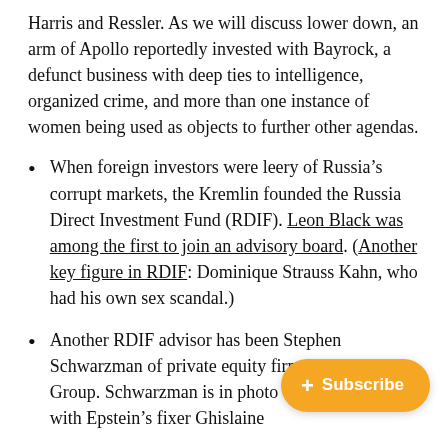Harris and Ressler. As we will discuss lower down, an arm of Apollo reportedly invested with Bayrock, a defunct business with deep ties to intelligence, organized crime, and more than one instance of women being used as objects to further other agendas.
When foreign investors were leery of Russia’s corrupt markets, the Kremlin founded the Russia Direct Investment Fund (RDIF). Leon Black was among the first to join an advisory board. (Another key figure in RDIF: Dominique Strauss Kahn, who had his own sex scandal.)
Another RDIF advisor has been Stephen Schwarzman of private equity [firm] Blackstone Group. Schwarzman is in ph[oto/recorded] “conversation” with Epstein’s fixer Ghislaine